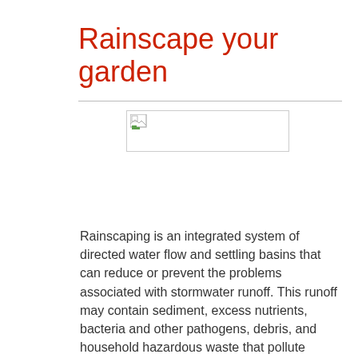Rainscape your garden
[Figure (photo): Broken image placeholder for a garden/rainscape photograph]
Rainscaping is an integrated system of directed water flow and settling basins that can reduce or prevent the problems associated with stormwater runoff. This runoff may contain sediment, excess nutrients, bacteria and other pathogens, debris, and household hazardous waste that pollute water environments, according to the U.S. Environmental